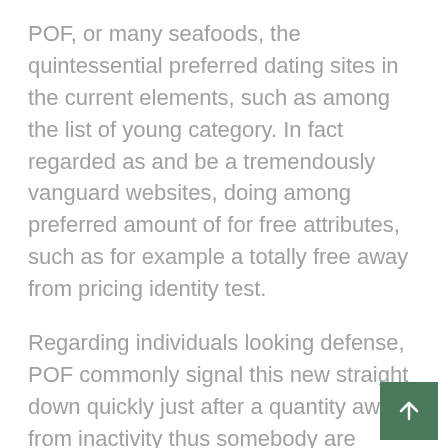POF, or many seafoods, the quintessential preferred dating sites in the current elements, such as among the list of young category. In fact regarded as and be a tremendously vanguard websites, doing among preferred amount of for free attributes, such as for example a totally free away from pricing identity test.
Regarding individuals looking defense, POF commonly signal this new straight down quickly just after a quantity away from inactivity thus somebody are unable to hit across your money observe its advice. A vital basis if you are delivering push an affair. you won't need to hook the fresh social media